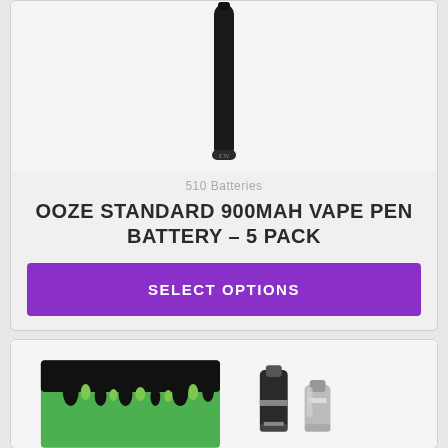[Figure (photo): Black cylindrical vape pen battery standing upright on a light gray background]
510 Batteries
OOZE STANDARD 900MAH VAPE PEN BATTERY – 5 PACK
SELECT OPTIONS
[Figure (photo): Green and black slime-drip styled box next to two metallic vape components on a light background]